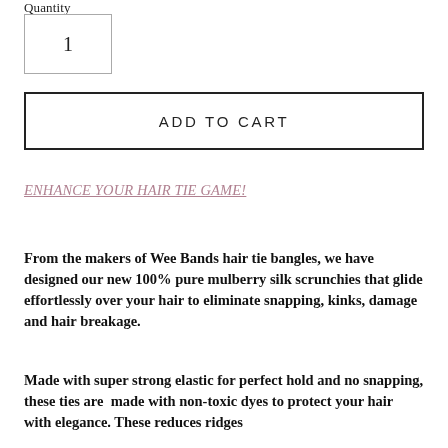Quantity
1
ADD TO CART
ENHANCE YOUR HAIR TIE GAME!
From the makers of Wee Bands hair tie bangles, we have designed our new 100% pure mulberry silk scrunchies that glide effortlessly over your hair to eliminate snapping, kinks, damage and hair breakage.
Made with super strong elastic for perfect hold and no snapping, these ties are  made with non-toxic dyes to protect your hair with elegance. These reduces ridges caused by regular hair ties, better and more softly, cut the